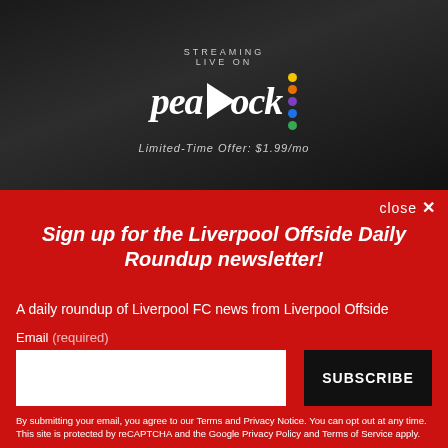[Figure (screenshot): Peacock streaming service advertisement with dark background showing 'STREAMING LIVE ON' text, Peacock logo with colorful dots, and 'Limited-Time Offer: $1.99/mo']
close ✕
Sign up for the Liverpool Offside Daily Roundup newsletter!
A daily roundup of Liverpool FC news from Liverpool Offside
Email (required)
SUBSCRIBE
By submitting your email, you agree to our Terms and Privacy Notice. You can opt out at any time. This site is protected by reCAPTCHA and the Google Privacy Policy and Terms of Service apply.